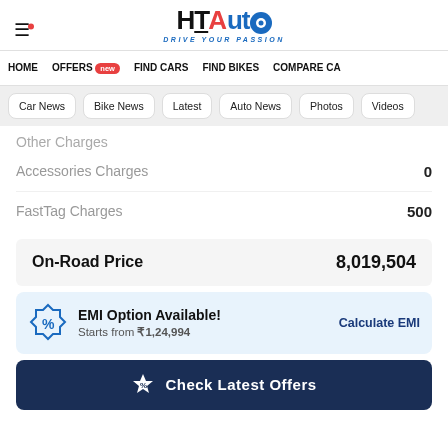HT Auto - Drive Your Passion
HOME | OFFERS new | FIND CARS | FIND BIKES | COMPARE CA
Car News | Bike News | Latest | Auto News | Photos | Videos
Other Charges
| Charge | Amount |
| --- | --- |
| Accessories Charges | 0 |
| FastTag Charges | 500 |
On-Road Price  8,019,504
EMI Option Available! Starts from ₹1,24,994  Calculate EMI
Check Latest Offers